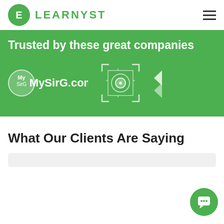[Figure (logo): Learnyst logo: green circle with letter E and LEARNYST text in green]
Trusted by these great companies
[Figure (logo): MySirG.com logo in light green/white on green background]
[Figure (logo): Camera/lens icon logo in white outline on green background]
What Our Clients Are Saying
[Figure (illustration): Green chat/support button with speech bubble icon at bottom right]